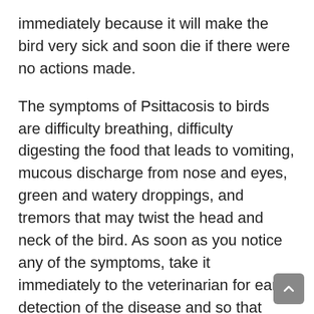immediately because it will make the bird very sick and soon die if there were no actions made.
The symptoms of Psittacosis to birds are difficulty breathing, difficulty digesting the food that leads to vomiting, mucous discharge from nose and eyes, green and watery droppings, and tremors that may twist the head and neck of the bird. As soon as you notice any of the symptoms, take it immediately to the veterinarian for early detection of the disease and so that immediate action is given to the bird, which is the antibiotic treatment to kill the bacteria.
4) Proventricular Dilatation Disease (PDD)
This viral progressive and oftentimes fatal disease